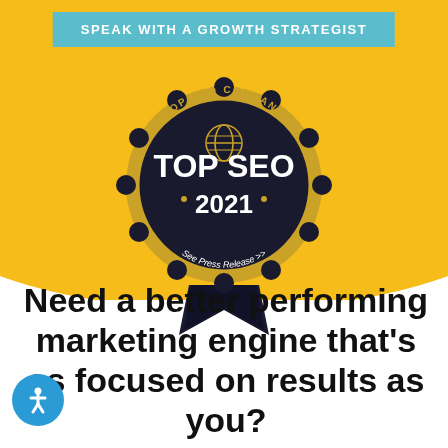SPEAK WITH A GROWTH STRATEGIST
[Figure (logo): Top SEO Company award badge — dark gold scalloped circle with ribbon, text: TOP SEO COMPANY, TOP SEO 2021, See Press Release >>]
Need a better performing marketing engine that's as focused on results as you?